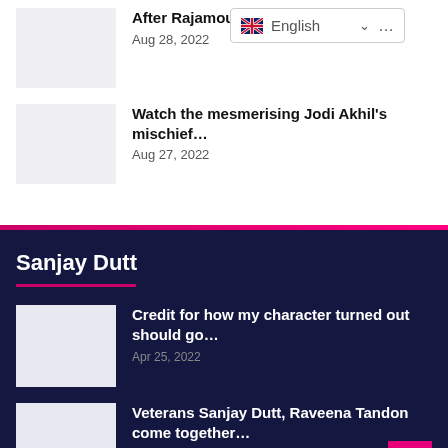[Figure (screenshot): Language selector dropdown showing English with UK flag]
After Rajamouli i… Aug 28, 2022
Watch the mesmerising Jodi Akhil's mischief… Aug 27, 2022
Sanjay Dutt
Credit for how my character turned out should go… Apr 25, 2022
Veterans Sanjay Dutt, Raveena Tandon come together… Feb 23, 2022